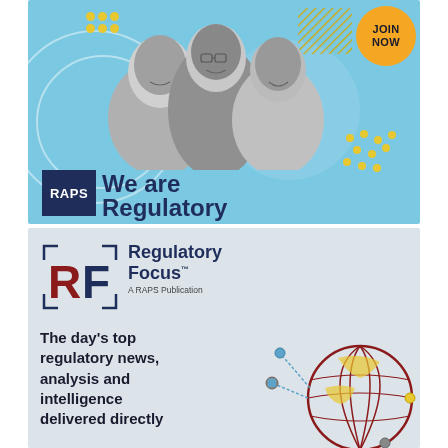[Figure (illustration): RAPS membership advertisement with blue background, three smiling professionals in grayscale photo, 'JOIN NOW' orange badge, yellow decorative dots, 'RAPS' logo in dark navy box, and bold text 'We are Regulatory']
[Figure (illustration): Regulatory Focus advertisement with grey background, RF logo with bracket marks, title 'Regulatory Focus A RAPS Publication', text 'The day's top regulatory news, analysis and intelligence delivered directly', and a globe network illustration in dark red and yellow]